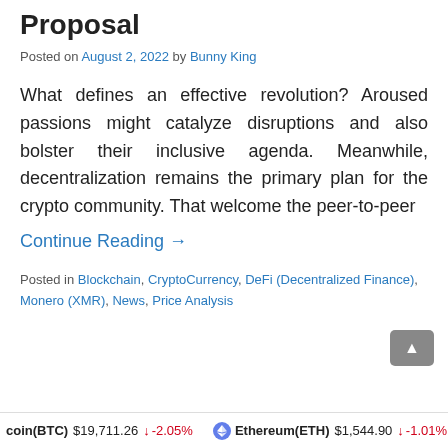Proposal
Posted on August 2, 2022 by Bunny King
What defines an effective revolution? Aroused passions might catalyze disruptions and also bolster their inclusive agenda. Meanwhile, decentralization remains the primary plan for the crypto community. That welcome the peer-to-peer
Continue Reading →
Posted in Blockchain, CryptoCurrency, DeFi (Decentralized Finance), Monero (XMR), News, Price Analysis
coin(BTC) $19,711.26 ↓ -2.05%   Ethereum(ETH) $1,544.90 ↓ -1.01%